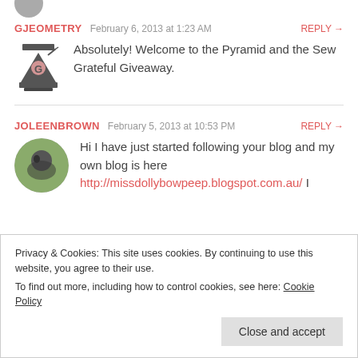GJEOMETRY  February 6, 2013 at 1:23 AM  REPLY →
Absolutely! Welcome to the Pyramid and the Sew Grateful Giveaway.
JOLEENBROWN  February 5, 2013 at 10:53 PM  REPLY →
Hi I have just started following your blog and my own blog is here http://missdollybowpeep.blogspot.com.au/ I
Privacy & Cookies: This site uses cookies. By continuing to use this website, you agree to their use.
To find out more, including how to control cookies, see here: Cookie Policy
Close and accept